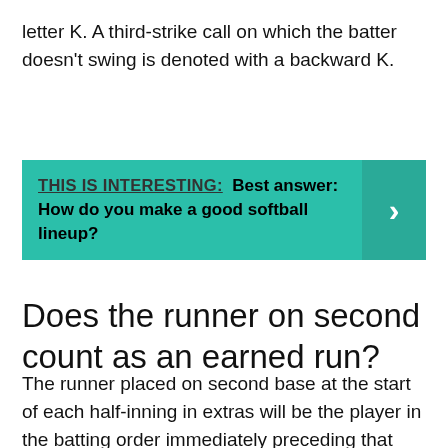letter K. A third-strike call on which the batter doesn't swing is denoted with a backward K.
THIS IS INTERESTING: Best answer: How do you make a good softball lineup?
Does the runner on second count as an earned run?
The runner placed on second base at the start of each half-inning in extras will be the player in the batting order immediately preceding that half-inning's leadoff hitter, or a pinch-runner. … If the automatic runner comes around to score, an earned run will